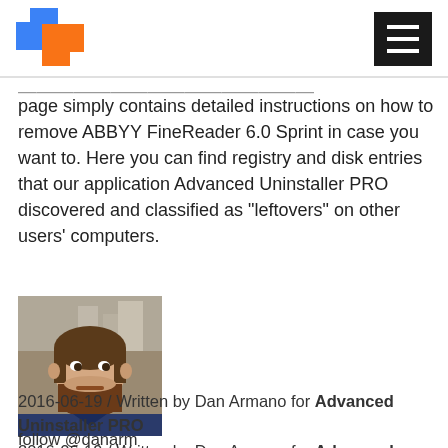Advanced Uninstaller PRO logo and navigation
page simply contains detailed instructions on how to remove ABBYY FineReader 6.0 Sprint in case you want to. Here you can find registry and disk entries that our application Advanced Uninstaller PRO discovered and classified as "leftovers" on other users' computers.
[Figure (photo): Photo of Dan Armano, a bearded man outdoors with buildings in background]
2016-06-19 / Written by Dan Armano for Advanced Uninstaller PRO
follow @danarm